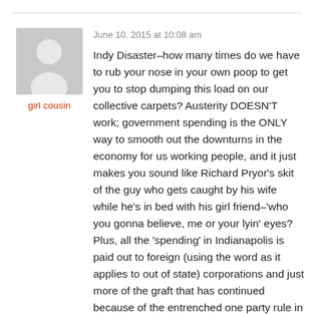June 10, 2015 at 10:08 am
[Figure (illustration): Gray placeholder avatar silhouette of a person on a gray background]
girl cousin
Indy Disaster–how many times do we have to rub your nose in your own poop to get you to stop dumping this load on our collective carpets? Austerity DOESN'T work; government spending is the ONLY way to smooth out the downturns in the economy for us working people, and it just makes you sound like Richard Pryor's skit of the guy who gets caught by his wife while he's in bed with his girl friend–'who you gonna believe, me or your lyin' eyes? Plus, all the 'spending' in Indianapolis is paid out to foreign (using the word as it applies to out of state) corporations and just more of the graft that has continued because of the entrenched one party rule in Indiana.